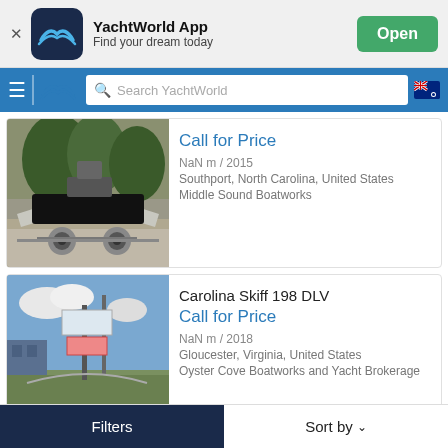[Figure (screenshot): YachtWorld App banner with logo, app name, tagline, and Open button]
[Figure (screenshot): Navigation bar with hamburger menu, YachtWorld logo, search box, and AU flag]
[Figure (photo): Boat on trailer in gravel lot, trees in background]
Call for Price
NaN m / 2015
Southport, North Carolina, United States
Middle Sound Boatworks
[Figure (photo): Carolina Skiff 198 DLV at marina/dealership with signage]
Carolina Skiff 198 DLV
Call for Price
NaN m / 2018
Gloucester, Virginia, United States
Oyster Cove Boatworks and Yacht Brokerage
Filters
Sort by